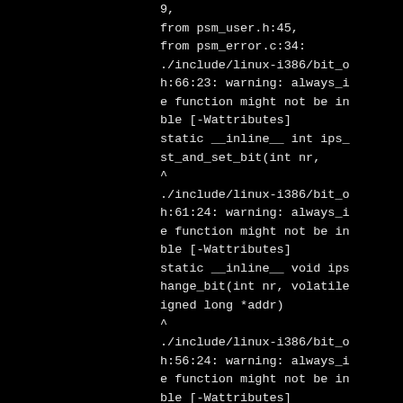9,
from psm_user.h:45,
from psm_error.c:34:
./include/linux-i386/bit_o
h:66:23: warning: always_i
e function might not be in
ble [-Wattributes]
static __inline__ int ips_
st_and_set_bit(int nr,
^
./include/linux-i386/bit_o
h:61:24: warning: always_i
e function might not be in
ble [-Wattributes]
static __inline__ void ips
hange_bit(int nr, volatile
igned long *addr)
^
./include/linux-i386/bit_o
h:56:24: warning: always_i
e function might not be in
ble [-Wattributes]
static __inline__ void ips
lear_bit(int nr, volatile